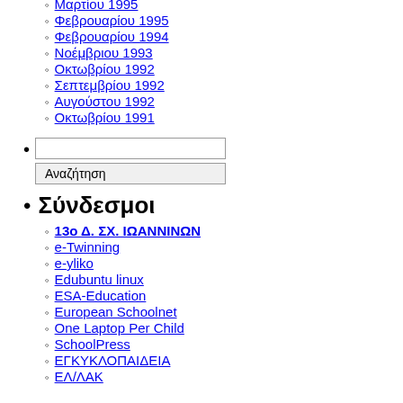Μαρτίου 1995
Φεβρουαρίου 1995
Φεβρουαρίου 1994
Νοέμβριου 1993
Οκτωβρίου 1992
Σεπτεμβρίου 1992
Αυγούστου 1992
Οκτωβρίου 1991
Αναζήτηση (search input)
Σύνδεσμοι
13ο Δ. ΣΧ. ΙΩΑΝΝΙΝΩΝ
e-Twinning
e-yliko
Edubuntu linux
ESA-Education
European Schoolnet
One Laptop Per Child
SchoolPress
ΕΓΚΥΚΛΟΠΑΙΔΕΙΑ
ΕΛ/ΛΑΚ